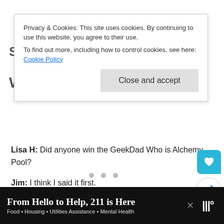Privacy & Cookies: This site uses cookies. By continuing to use this website, you agree to their use.
To find out more, including how to control cookies, see here: Cookie Policy
Close and accept
Lisa H: Did anyone win the GeekDad Who is Alchemy Pool?
Jim: I think I said it first.
Lisa H: Yes I think you did Jim. All that fake money is yours! Mazal Tov!
[Figure (screenshot): Three grey dots (carousel indicators) and a teal floating action button with heart icon, plus a white circular share button below it]
From Hello to Help, 211 is Here
Food • Housing • Utilities Assistance • Mental Health